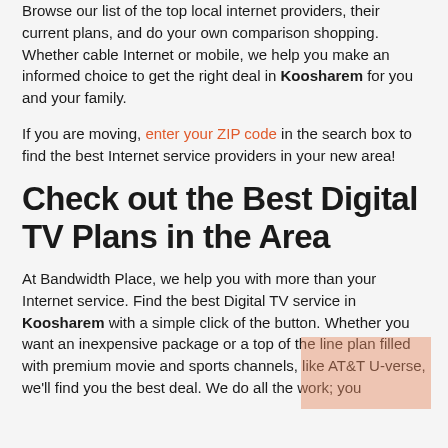Browse our list of the top local internet providers, their current plans, and do your own comparison shopping. Whether cable Internet or mobile, we help you make an informed choice to get the right deal in Koosharem for you and your family.
If you are moving, enter your ZIP code in the search box to find the best Internet service providers in your new area!
Check out the Best Digital TV Plans in the Area
At Bandwidth Place, we help you with more than your Internet service. Find the best Digital TV service in Koosharem with a simple click of the button. Whether you want an inexpensive package or a top of the line plan filled with premium movie and sports channels, like AT&T U-verse, we'll find you the best deal. We do all the work; you